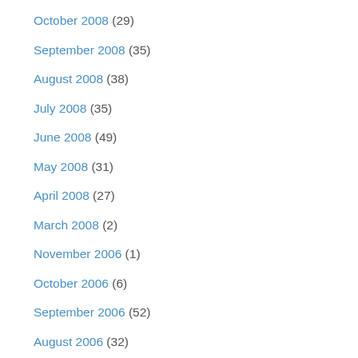October 2008 (29)
September 2008 (35)
August 2008 (38)
July 2008 (35)
June 2008 (49)
May 2008 (31)
April 2008 (27)
March 2008 (2)
November 2006 (1)
October 2006 (6)
September 2006 (52)
August 2006 (32)
July 2006 (8)
June 2006 (24)
May 2006 (24)